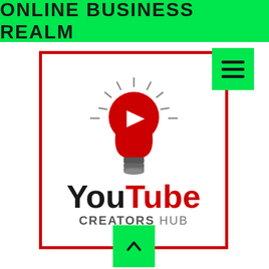ONLINE BUSINESS REALM
[Figure (logo): YouTube Creators Hub logo: a red lightbulb with a white play button triangle inside, surrounded by rays/dashes, above the text 'YouTube CREATORS HUB' in black and red. The logo is inside a red-bordered box. A green hamburger menu button is at the top right, and a green up-arrow button is at the bottom center.]